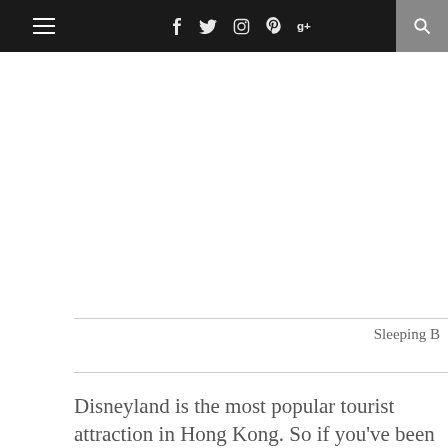≡  f  t  [instagram]  [pinterest]  g+  [search]
Sleeping B
Disneyland is the most popular tourist attraction in Hong Kong. So if you've been to Hong Kong,